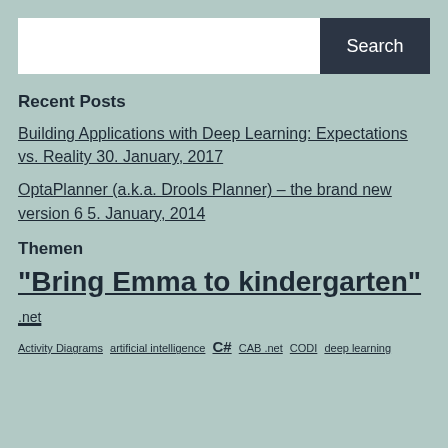[Figure (screenshot): Search bar with white input field and dark Search button]
Recent Posts
Building Applications with Deep Learning: Expectations vs. Reality 30. January, 2017
OptaPlanner (a.k.a. Drools Planner) – the brand new version 6 5. January, 2014
Themen
"Bring Emma to kindergarten" .net
Activity Diagrams  artificial intelligence  C#  CAB .net  CODI  deep learning